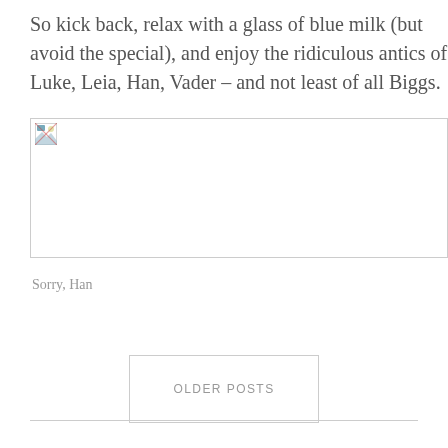So kick back, relax with a glass of blue milk (but avoid the special), and enjoy the ridiculous antics of Luke, Leia, Han, Vader – and not least of all Biggs.
[Figure (photo): Broken image placeholder with small icon in top-left corner]
Sorry, Han
OLDER POSTS